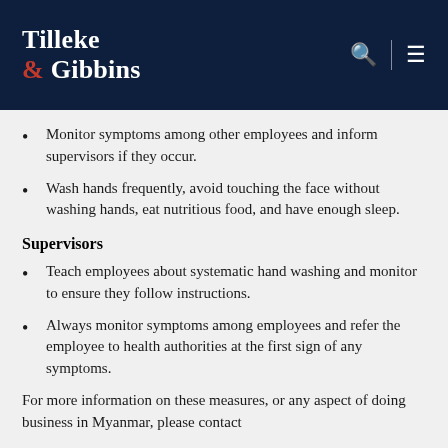Tilleke & Gibbins
Monitor symptoms among other employees and inform supervisors if they occur.
Wash hands frequently, avoid touching the face without washing hands, eat nutritious food, and have enough sleep.
Supervisors
Teach employees about systematic hand washing and monitor to ensure they follow instructions.
Always monitor symptoms among employees and refer the employee to health authorities at the first sign of any symptoms.
For more information on these measures, or any aspect of doing business in Myanmar, please contact